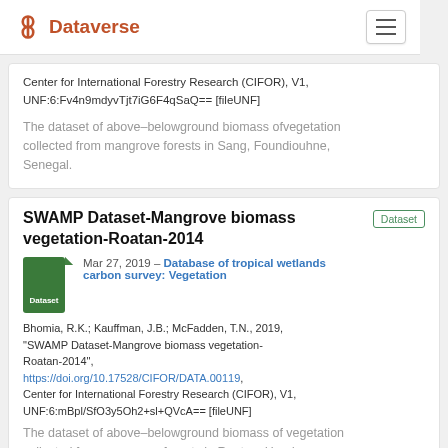[Figure (logo): Dataverse logo with orange figure-8 icon and orange text]
Center for International Forestry Research (CIFOR), V1, UNF:6:Fv4n9mdyvTjt7iG6F4qSaQ== [fileUNF]
The dataset of above-belowground biomass ofvegetation collected from mangrove forests in Sang, Foundiouhne, Senegal.
SWAMP Dataset-Mangrove biomass vegetation-Roatan-2014
Dataset
[Figure (logo): Green dataset file icon with 'Dataset' label]
Mar 27, 2019 – Database of tropical wetlands carbon survey: Vegetation
Bhomia, R.K.; Kauffman, J.B.; McFadden, T.N., 2019, "SWAMP Dataset-Mangrove biomass vegetation-Roatan-2014", https://doi.org/10.17528/CIFOR/DATA.00119, Center for International Forestry Research (CIFOR), V1, UNF:6:mBpl/SfO3y5Oh2+sl+QVcA== [fileUNF]
The dataset of above-belowground biomass of vegetation collected from mangrove forests in Roatan, Honduras.